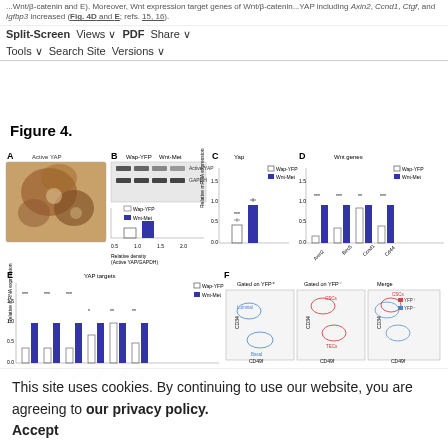Split-Screen | Views | PDF | Share | Tools | Search Site | Versions
...Wnt/β-catenin...YAP expression target genes of Wnt/β-catenin...YAP including Axin2, Ccnd1, Ctgf, and Igfbp3 increased (Fig. 4D and E; refs. 15, 16).
Figure 4.
[Figure (photo): Panel A: Immunohistochemistry image showing Active YAP staining in brown. Panel B: Western blot showing Active YAP and GAPDH bands for Wap-YFP and Wnt-Met, with bar graph of relative density (Active YAP/GAPDH). Panel C: Bar graph of Yap mRNA expression for Wap-YFP and Wnt-Met. Panel D: Bar graph of Wnt genes (Axin2, Birc5, Ccnd1, Cd44) mRNA expression comparing Wap-YFP and Wnt-Met. Panel E: Bar graph of YAP targets (Ctgf, Ankrd1, Birc5, Cyr61, Ccnd2, Akt) mRNA expression comparing Wap-YFP and Wnt-Met. Panel F: Flow cytometry scatter plots gated on YFP+ and YFP- showing CD34 vs CD49f with CSCs, TECs, Luminal, and Basal populations labeled; merged plot with YFP+/YFP- legend.]
This site uses cookies. By continuing to use our website, you are agreeing to our privacy policy. Accept